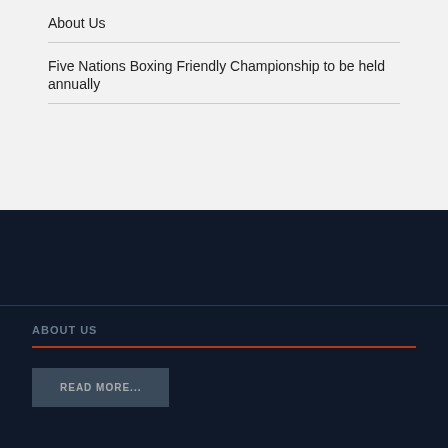About Us
Five Nations Boxing Friendly Championship to be held annually
ABOUT US
READ MORE...